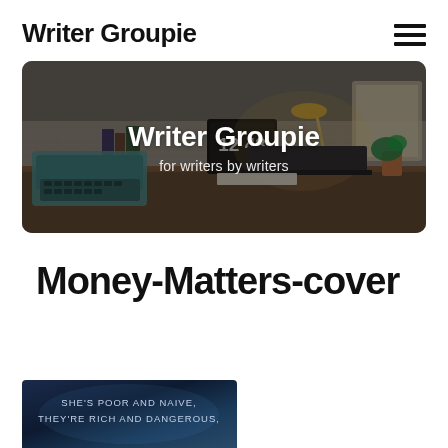Writer Groupie
[Figure (photo): Hero banner showing a writer's desk with a typewriter, laptop, clock showing 12:48, and a lamp. Text overlay reads 'Writer Groupie' and 'for writers by writers'.]
Money-Matters-cover
[Figure (photo): Partial view of a book cover with dark blue/navy background. Text reads: SHE'S POOR AND NAIVE, THEY'RE RICH AND DANGEROUS.]